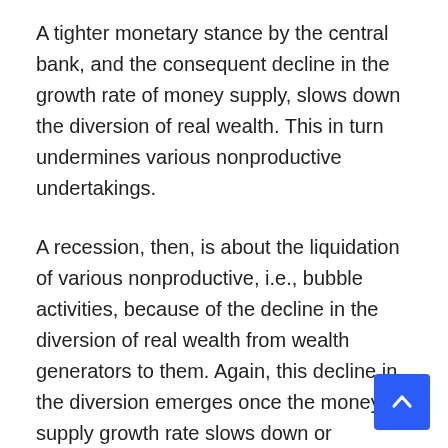A tighter monetary stance by the central bank, and the consequent decline in the growth rate of money supply, slows down the diversion of real wealth. This in turn undermines various nonproductive undertakings.
A recession, then, is about the liquidation of various nonproductive, i.e., bubble activities, because of the decline in the diversion of real wealth from wealth generators to them. Again, this decline in the diversion emerges once the money supply growth rate slows down or declines.
GDP Paints a Misleading Picture